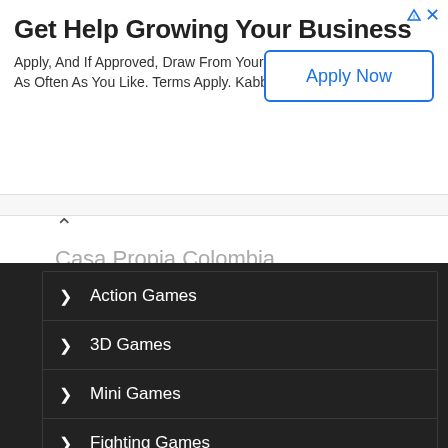Get Help Growing Your Business
Apply, And If Approved, Draw From Your Available Funds As Often As You Like. Terms Apply. Kabbage Funding
Apply Now
Casa Propia Colombia
Abrir
Action Games
3D Games
Mini Games
Fighting Games